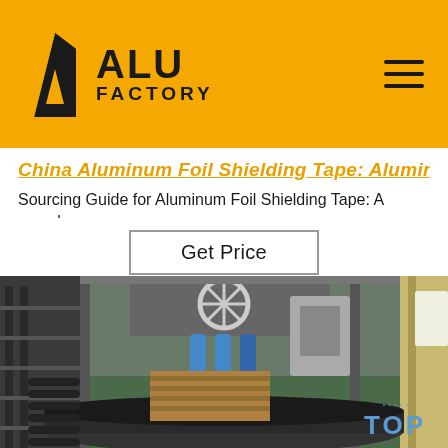ALU FACTORY
China Aluminum Foil Shielding Tape: Aluminum Sourcing Guide for Aluminum Foil Shielding Tape: A compl...
Sourcing Guide for Aluminum Foil Shielding Tape: A compl...
Get Price
[Figure (photo): Factory interior showing industrial machinery for aluminum foil processing. Metal frames, rollers, conveyor belts, aluminum coils, and industrial equipment visible. A 'TOP' watermark badge appears in the lower right corner.]